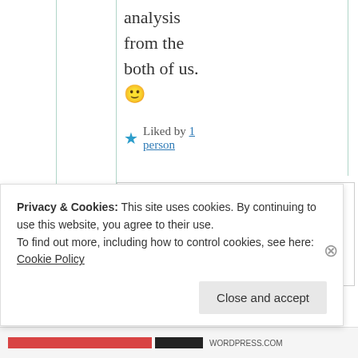analysis from the both of us. 🙂
★ Liked by 1 person
the ear
Privacy & Cookies: This site uses cookies. By continuing to use this website, you agree to their use. To find out more, including how to control cookies, see here: Cookie Policy
Close and accept